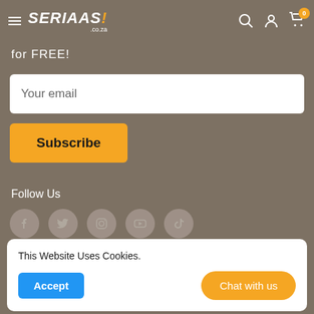SERIAAS! .co.za — navigation bar with hamburger menu, search, account, and cart (0) icons
for FREE!
Your email
Subscribe
Follow Us
[Figure (infographic): Row of five social media icon circles: Facebook, Twitter, Instagram, YouTube, TikTok]
This Website Uses Cookies.
Accept
Chat with us